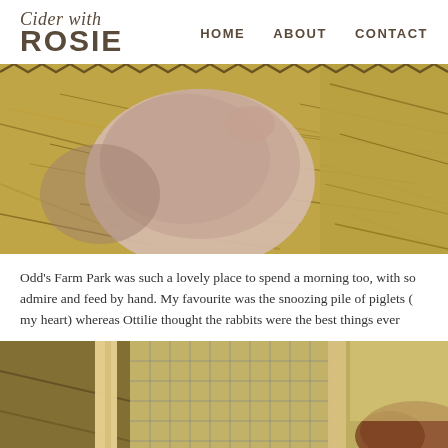Cider with ROSIE | HOME | ABOUT | CONTACT
[Figure (photo): Close-up photo of a piglet snoozing on hay/straw, with a zigzag decorative border at the top]
Odd's Farm Park was such a lovely place to spend a morning too, with so admire and feed by hand. My favourite was the snoozing pile of piglets ( my heart) whereas Ottilie thought the rabbits were the best things ever
[Figure (photo): Photo of a child looking through a wire cage at rabbits, with hay and wooden structures visible]